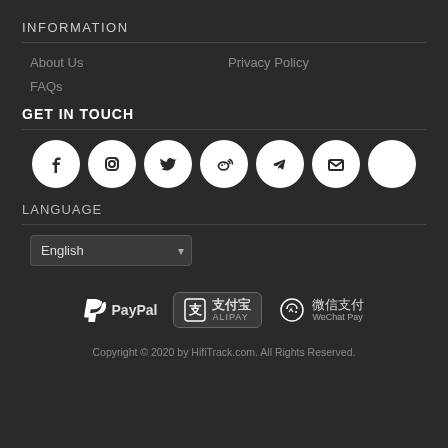INFORMATION
About Us
Privacy Policy
FAQs
GET IN TOUCH
[Figure (infographic): Row of 7 social media icon circles: Facebook, Instagram, Twitter, Weibo, Telegram, Email, and one blank/white circle]
LANGUAGE
English
[Figure (infographic): Payment logos: PayPal, Alipay (支付宝), WeChat Pay (微信支付)]
Copyright © 2020 by HifiTrack.com. All Rights Reserved.